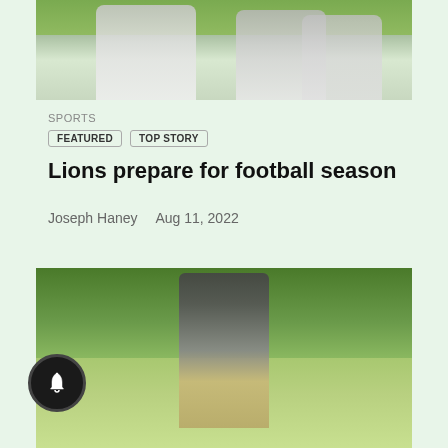[Figure (photo): Football players in white uniforms on a green field, partial view cropped at top of page]
SPORTS
FEATURED  TOP STORY
Lions prepare for football season
Joseph Haney  Aug 11, 2022
[Figure (photo): A golfer in mid-swing on a golf course with green trees in the background and fairway in foreground]